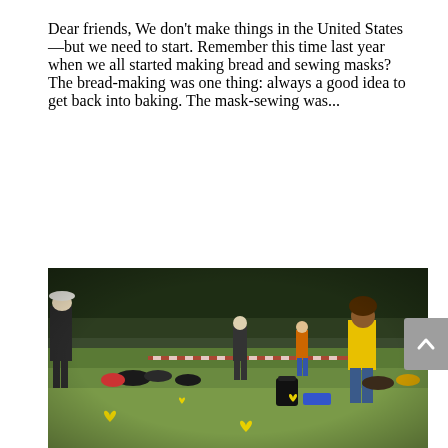Dear friends, We don't make things in the United States—but we need to start. Remember this time last year when we all started making bread and sewing masks? The bread-making was one thing: always a good idea to get back into baking. The mask-sewing was...
[Figure (photo): Outdoor scene on a grassy field with people standing and sitting in a park-like setting with trees in the background. Some people have yellow heart markers on the ground near them.]